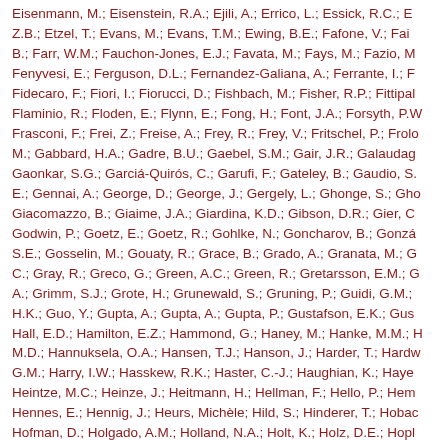Eisenmann, M.; Eisenstein, R.A.; Ejili, A.; Errico, L.; Essick, R.C.; E... Z.B.; Etzel, T.; Evans, M.; Evans, T.M.; Ewing, B.E.; Fafone, V.; Fai... B.; Farr, W.M.; Fauchon-Jones, E.J.; Favata, M.; Fays, M.; Fazio, M... Fenyvesi, E.; Ferguson, D.L.; Fernandez-Galiana, A.; Ferrante, I.; F... Fidecaro, F.; Fiori, I.; Fiorucci, D.; Fishbach, M.; Fisher, R.P.; Fittipa... Flaminio, R.; Floden, E.; Flynn, E.; Fong, H.; Font, J.A.; Forsyth, P.W... Frasconi, F.; Frei, Z.; Freise, A.; Frey, R.; Frey, V.; Fritschel, P.; Frol... M.; Gabbard, H.A.; Gadre, B.U.; Gaebel, S.M.; Gair, J.R.; Galaudag... Gaonkar, S.G.; Garciá-Quirós, C.; Garufi, F.; Gateley, B.; Gaudio, S... E.; Gennai, A.; George, D.; George, J.; Gergely, L.; Ghonge, S.; Gh... Giacomazzo, B.; Giaime, J.A.; Giardina, K.D.; Gibson, D.R.; Gier, C... Godwin, P.; Goetz, E.; Goetz, R.; Gohlke, N.; Goncharov, B.; Gonzá... S.E.; Gosselin, M.; Gouaty, R.; Grace, B.; Grado, A.; Granata, M.; G... C.; Gray, R.; Greco, G.; Green, A.C.; Green, R.; Gretarsson, E.M.; G... A.; Grimm, S.J.; Grote, H.; Grunewald, S.; Gruning, P.; Guidi, G.M.;... H.K.; Guo, Y.; Gupta, A.; Gupta, A.; Gupta, P.; Gustafson, E.K.; Gus... Hall, E.D.; Hamilton, E.Z.; Hammond, G.; Haney, M.; Hanke, M.M.; H... M.D.; Hannuksela, O.A.; Hansen, T.J.; Hanson, J.; Harder, T.; Hardw... G.M.; Harry, I.W.; Hasskew, R.K.; Haster, C.-J.; Haughian, K.; Haye... Heintze, M.C.; Heinze, J.; Heitmann, H.; Hellman, F.; Hello, P.; Hem... Hennes, E.; Hennig, J.; Heurs, Michèle; Hild, S.; Hinderer, T.; Hobac... Hofman, D.; Holgado, A.M.; Holland, N.A.; Holt, K.; Holz, D.E.; Hop... E.J.; Hoy, C.G.; Huang, Y.; Hübner, M.T.; Huerta, E.A.; Huet, D.; Hu...